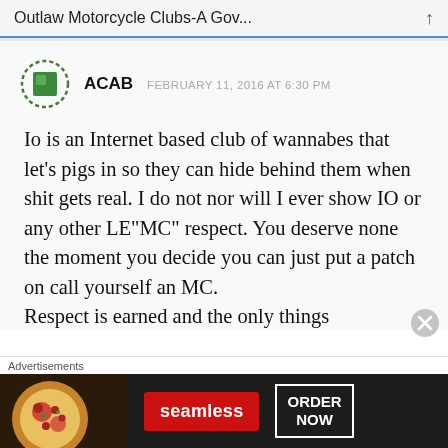Outlaw Motorcycle Clubs-A Gov...
[Figure (illustration): Green avatar icon with dotted border used as commenter profile image]
ACAB  FEBRUARY 11, 2016 AT 6:30 PM
Io is an Internet based club of wannabes that let’s pigs in so they can hide behind them when shit gets real. I do not nor will I ever show IO or any other LE“MC” respect. You deserve none the moment you decide you can just put a patch on call yourself an MC. Respect is earned and the only things
Advertisements
[Figure (photo): Seamless food delivery advertisement banner showing pizza image on left, red Seamless logo in center, and ORDER NOW button in white border on dark background]